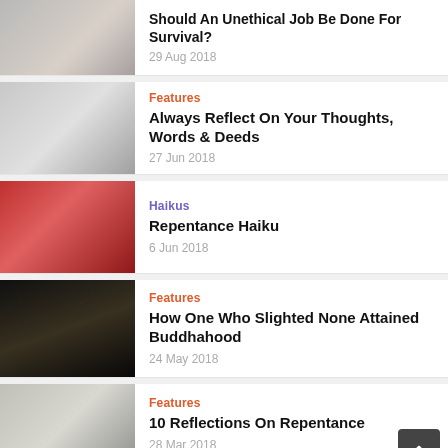[Figure (photo): Person viewed from behind among crowd]
Should An Unethical Job Be Done For Survival?
29 Aug 2018
[Figure (photo): Person in plaid shirt looking up surrounded by art]
Features
Always Reflect On Your Thoughts, Words & Deeds
27 Jun 2018
[Figure (photo): Elderly person in red praying]
Haikus
Repentance Haiku
6 Jun 2018
[Figure (photo): Buddha statue on dark background]
Features
How One Who Slighted None Attained Buddhahood
24 May 2018
[Figure (photo): Elderly person with hat offering incense]
Features
10 Reflections On Repentance
28 Mar 2018
[Figure (photo): Partially visible image with Netflix logo]